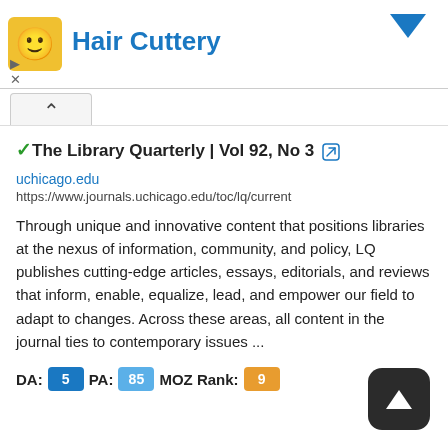[Figure (logo): Hair Cuttery ad banner with yellow smiley logo, blue 'Hair Cuttery' text, and blue downward arrow. Close/collapse controls visible.]
✓The Library Quarterly | Vol 92, No 3 🔗
uchicago.edu
https://www.journals.uchicago.edu/toc/lq/current
Through unique and innovative content that positions libraries at the nexus of information, community, and policy, LQ publishes cutting-edge articles, essays, editorials, and reviews that inform, enable, equalize, lead, and empower our field to adapt to changes. Across these areas, all content in the journal ties to contemporary issues ...
DA: 5  PA: 85  MOZ Rank: 9